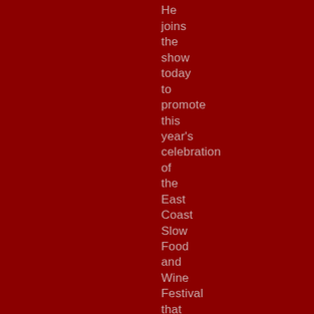extinction. He joins the show today to promote this year's celebration of the East Coast Slow Food and Wine Festival that will be held June 27, 28 2009 at Honewell